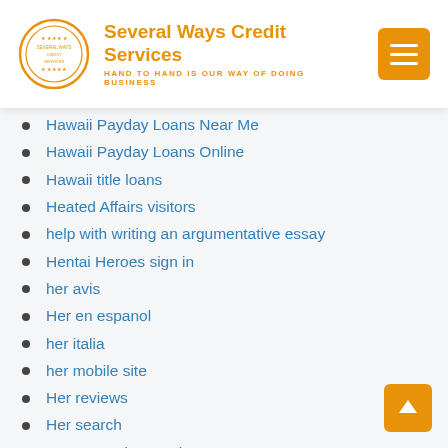Several Ways Credit Services — HAND TO HAND IS OUR WAY OF DOING BUSINESS
Hawaii Payday Loans Near Me
Hawaii Payday Loans Online
Hawaii title loans
Heated Affairs visitors
help with writing an argumentative essay
Hentai Heroes sign in
her avis
Her en espanol
her italia
her mobile site
Her reviews
Her search
Herpes Dating service
Herpes Dating sign in
Herpes Dating visitors
Heterosexual dating expert reviews
hi5 adult dating
Hi5 app gratis
hi5 mobile